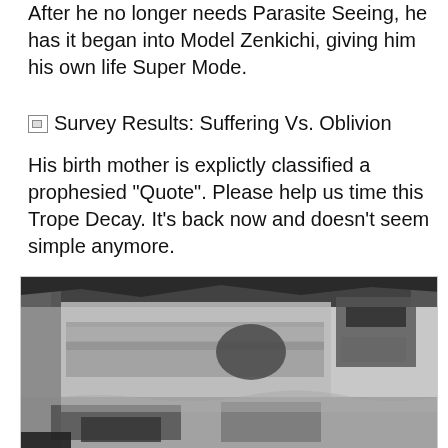After he no longer needs Parasite Seeing, he has it began into Model Zenkichi, giving him his own life Super Mode.
Survey Results: Suffering Vs. Oblivion
His birth mother is explictly classified a prophesied "Quote". Please help us time this Trope Decay. It's back now and doesn't seem simple anymore.
[Figure (photo): A black and white image showing a complex collage or artwork with abstract and architectural elements, printed textures, and layered rectangular fragments.]